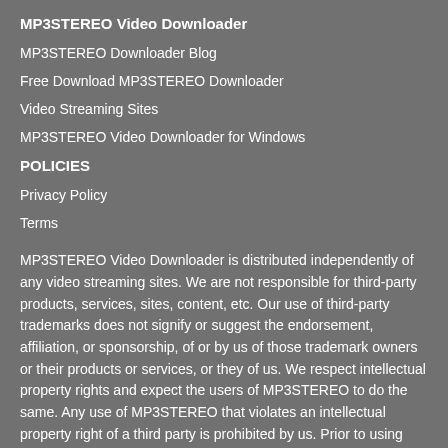MP3STEREO Video Downloader
MP3STEREO Downloader Blog
Free Download MP3STEREO Downloader
Video Streaming Sites
MP3STEREO Video Downloader for Windows
POLICIES
Privacy Policy
Terms
MP3STEREO Video Downloader is distributed independently of any video streaming sites. We are not responsible for third-party products, services, sites, content, etc. Our use of third-party trademarks does not signify or suggest the endorsement, affiliation, or sponsorship, of or by us of those trademark owners or their products or services, or they of us. We respect intellectual property rights and expect the users of MP3STEREO to do the same. Any use of MP3STEREO that violates an intellectual property right of a third party is prohibited by us. Prior to using MP3STEREO for any specific purpose, please confirm